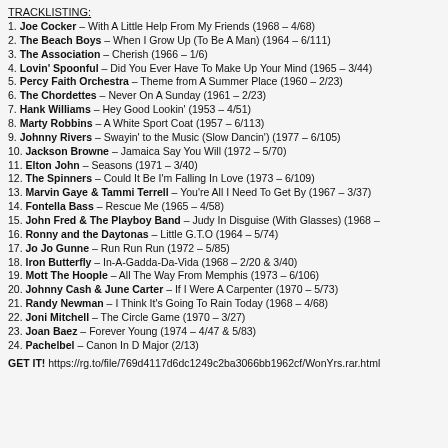TRACKLISTING:
1. Joe Cocker – With A Little Help From My Friends (1968 – 4/68)
2. The Beach Boys – When I Grow Up (To Be A Man) (1964 – 6/111)
3. The Association – Cherish (1966 – 1/6)
4. Lovin' Spoonful – Did You Ever Have To Make Up Your Mind (1965 – 3/44)
5. Percy Faith Orchestra – Theme from A Summer Place (1960 – 2/23)
6. The Chordettes – Never On A Sunday (1961 – 2/23)
7. Hank Williams – Hey Good Lookin' (1953 – 4/51)
8. Marty Robbins – A White Sport Coat (1957 – 6/113)
9. Johnny Rivers – Swayin' to the Music (Slow Dancin') (1977 – 6/105)
10. Jackson Browne – Jamaica Say You Will (1972 – 5/70)
11. Elton John – Seasons (1971 – 3/40)
12. The Spinners – Could It Be I'm Falling In Love (1973 – 6/109)
13. Marvin Gaye & Tammi Terrell – You're All I Need To Get By (1967 – 3/37)
14. Fontella Bass – Rescue Me (1965 – 4/58)
15. John Fred & The Playboy Band – Judy In Disguise (With Glasses) (1968 –
16. Ronny and the Daytonas – Little G.T.O (1964 – 5/74)
17. Jo Jo Gunne – Run Run Run (1972 – 5/85)
18. Iron Butterfly – In-A-Gadda-Da-Vida (1968 – 2/20 & 3/40)
19. Mott The Hoople – All The Way From Memphis (1973 – 6/106)
20. Johnny Cash & June Carter – If I Were A Carpenter (1970 – 5/73)
21. Randy Newman – I Think It's Going To Rain Today (1968 – 4/68)
22. Joni Mitchell – The Circle Game (1970 – 3/27)
23. Joan Baez – Forever Young (1974 – 4/47 & 5/83)
24. Pachelbel – Canon In D Major (2/13)
GET IT! https://rg.to/file/769d4117d6dc1249c2ba3066bb1962cf/WonYrs.rar.html